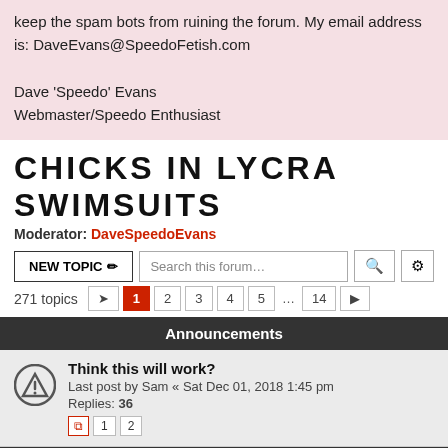keep the spam bots from ruining the forum. My email address is: DaveEvans@SpeedoFetish.com

Dave 'Speedo' Evans
Webmaster/Speedo Enthusiast
CHICKS IN LYCRA SWIMSUITS
Moderator: DaveSpeedoEvans
271 topics  1 2 3 4 5 ... 14
Announcements
Think this will work?
Last post by Sam « Sat Dec 01, 2018 1:45 pm
Replies: 36
1  2
Topics
Speedo and swimsuit sex
Last post by MrMusik « Thu Sep 01, 2022 11:29 am